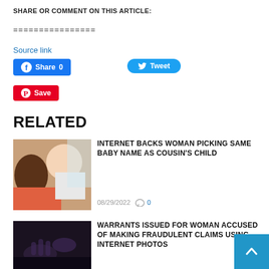SHARE OR COMMENT ON THIS ARTICLE:
================
Source link
[Figure (other): Social sharing buttons: Facebook Share 0, Tweet, Pinterest Save]
RELATED
[Figure (photo): Photo of a woman holding a baby]
INTERNET BACKS WOMAN PICKING SAME BABY NAME AS COUSIN'S CHILD
08/29/2022  0
[Figure (photo): Dark blurred photo, likely hands]
WARRANTS ISSUED FOR WOMAN ACCUSED OF MAKING FRAUDULENT CLAIMS USING INTERNET PHOTOS